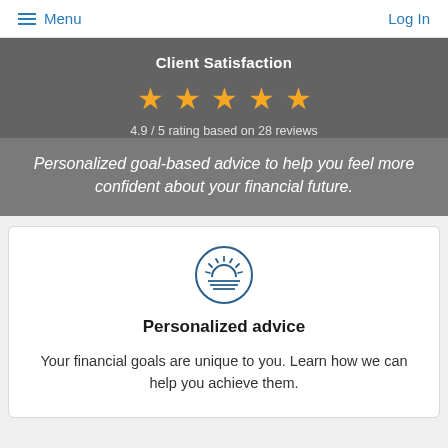Menu  Log In
Client Satisfaction
[Figure (other): Five gold stars rating display]
4.9 / 5 rating based on 28 reviews
Personalized goal-based advice to help you feel more confident about your financial future.
[Figure (other): Sunrise/sun logo icon inside a circle]
Personalized advice
Your financial goals are unique to you. Learn how we can help you achieve them.